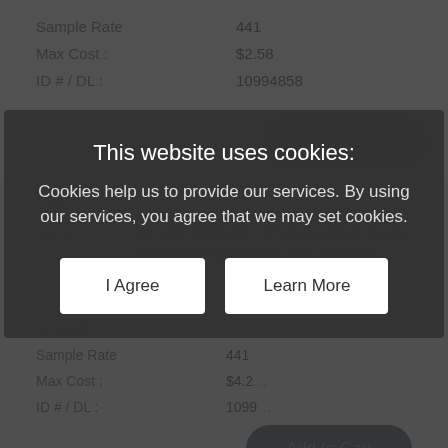Sample Rate   441
Max Cost :   $2.58
ID # / DL :   10994858
Add to Cart
Play
Name   Aircraft-Helicopter | AH-64 Apache || Apache Helicopter Big By Right, Left, By Again
Library: The Premiere Edition Vol. 8
Channels   2
Bit Depth
Sample Rate   441
Max Cost :   $4.2
ID # / DL :   1099
Add to Cart
This website uses cookies:
Cookies help us to provide our services. By using our services, you agree that we may set cookies.
I Agree
Learn More